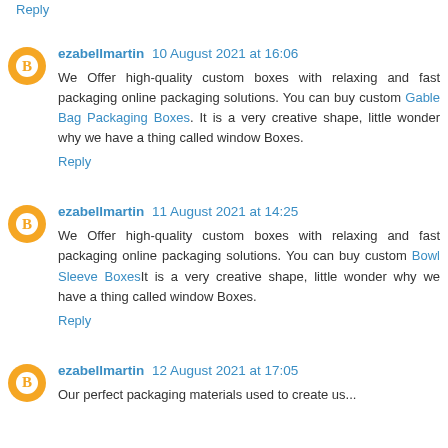Reply
ezabellmartin 10 August 2021 at 16:06
We Offer high-quality custom boxes with relaxing and fast packaging online packaging solutions. You can buy custom Gable Bag Packaging Boxes. It is a very creative shape, little wonder why we have a thing called window Boxes.
Reply
ezabellmartin 11 August 2021 at 14:25
We Offer high-quality custom boxes with relaxing and fast packaging online packaging solutions. You can buy custom Bowl Sleeve BoxesIt is a very creative shape, little wonder why we have a thing called window Boxes.
Reply
ezabellmartin 12 August 2021 at 17:05
Our perfect packaging materials used to create us...